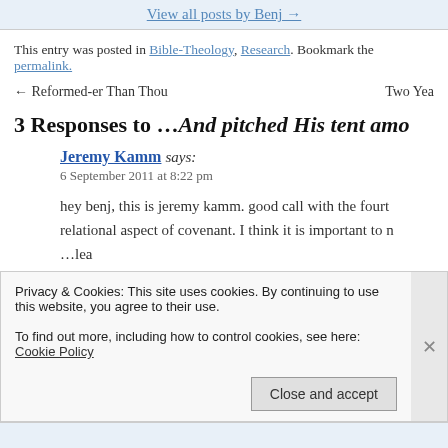View all posts by Benj →
This entry was posted in Bible-Theology, Research. Bookmark the permalink.
← Reformed-er Than Thou    Two Yea
3 Responses to …And pitched His tent amo
Jeremy Kamm says:
6 September 2011 at 8:22 pm
hey benj, this is jeremy kamm. good call with the fourt relational aspect of covenant. I think it is important to n …lea
Privacy & Cookies: This site uses cookies. By continuing to use this website, you agree to their use.
To find out more, including how to control cookies, see here: Cookie Policy
Close and accept